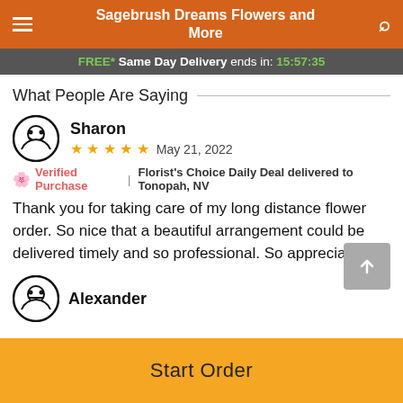Sagebrush Dreams Flowers and More
FREE* Same Day Delivery ends in: 15:57:35
What People Are Saying
Sharon
★★★★★   May 21, 2022
🌸 Verified Purchase   |   Florist's Choice Daily Deal delivered to Tonopah, NV
Thank you for taking care of my long distance flower order. So nice that a beautiful arrangement could be delivered timely and so professional. So appreciate!
Alexander
Start Order